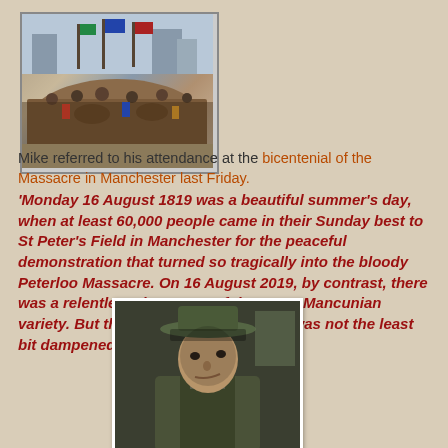[Figure (illustration): Historical illustration of a large crowd scene, depicting the Peterloo Massacre with flags and crowds]
Mike referred to his attendance at the bicentenial of the Massacre in Manchester last Friday. 'Monday 16 August 1819 was a beautiful summer's day, when at least 60,000 people came in their Sunday best to St Peter's Field in Manchester for the peaceful demonstration that turned so tragically into the bloody Peterloo Massacre. On 16 August 2019, by contrast, there was a relentless downpour of the worst Mancunian variety. But the spirit of 200 years ago was not the least bit dampened by the torrential rain.'
[Figure (photo): Portrait photo of a man wearing a dark olive/green wide-brimmed hat and coat, looking slightly to the side]